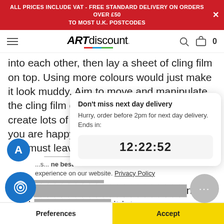ALL PRICES INCLUDE VAT - FREE STANDARD DELIVERY ON ORDERS OVER £50 TO MOST U.K. POSTCODES
[Figure (logo): ARTdiscount logo with colorful underline]
into each other, then lay a sheet of cling film on top. Using more colours would just make it look muddy. Aim to move and manipulate the cling film on top of the pigment. this will create lots of little pockets of colour. Once you are happy with your manipulated sheet, you must leave it to dry over night. When it is comp... to reveal little s... . This make... nting, add b... it into a ...s... ne best experience on our website. Privacy Policy
Don't miss next day delivery
Hurry, order before 2pm for next day delivery. Ends in:
12:22:52